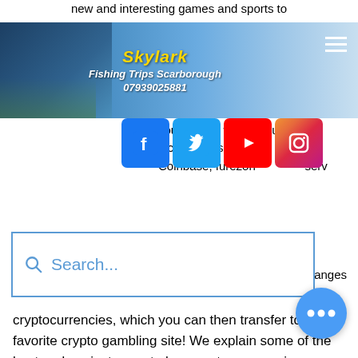new and interesting games and sports to
[Figure (screenshot): Skylark Fishing Trips Scarborough website header banner with coastal photo, yellow italic bold title 'Skylark', subtitle 'Fishing Trips Scarborough', phone '07939025881', hamburger menu icon top right]
[Figure (screenshot): Social media icons row: Facebook (blue), Twitter (light blue), YouTube (red), Instagram (pink/magenta gradient)]
with a change where you can
with cu y, such as
Coinbase, furezone, secure server anges
[Figure (screenshot): Search bar with blue border, magnifying glass icon, placeholder text 'Search...']
cryptocurrencies, which you can then transfer to your favorite crypto gambling site! We explain some of the best and easiest ways to buy cryptocurrency in our 'How to Buy Bitcoin' guide, so check it out if you need help buying your first Bitcoin. Some of the casinos we're going to look at here also allow you to buy crypto using a credit or debit card, instead of buying crypto on an exchange and transferring it over. However many crypto gambling sites will require to send crypto to your casino wallet to p so it's best to familiarize yourself with this